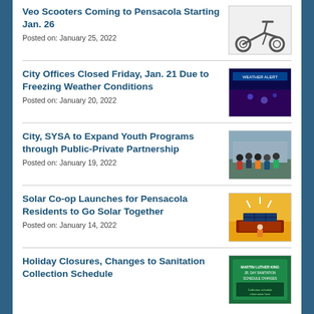Veo Scooters Coming to Pensacola Starting Jan. 26
Posted on: January 25, 2022
[Figure (photo): Electric scooter on white background]
City Offices Closed Friday, Jan. 21 Due to Freezing Weather Conditions
Posted on: January 20, 2022
[Figure (photo): Weather map/forecast image with purple overlay]
City, SYSA to Expand Youth Programs through Public-Private Partnership
Posted on: January 19, 2022
[Figure (photo): Group of people standing outside a building]
Solar Co-op Launches for Pensacola Residents to Go Solar Together
Posted on: January 14, 2022
[Figure (photo): Person standing in front of building with solar panels and yellow/orange awning]
Holiday Closures, Changes to Sanitation Collection Schedule
[Figure (photo): Martin Luther King Jr. Day sanitation schedule changes poster on green background]